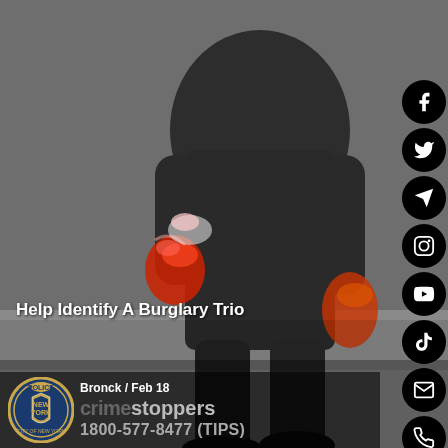[Figure (photo): Surveillance camera still image of a person in dark clothing walking, carrying red/orange bags in both hands. The image is grayscale/muted with the bags highlighted in color. Background shows a sidewalk or pavement.]
Help Identify A Burglary Trio
Bronck / Feb 18
[Figure (logo): NYPD badge/seal logo - City of New York Police Department circular badge in blue and gold]
crime stoppers
1800-577-8477 (TIPS)